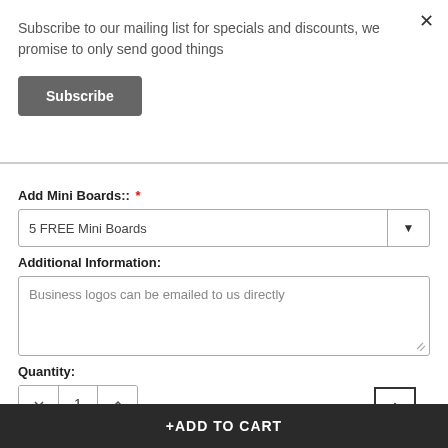Subscribe to our mailing list for specials and discounts, we promise to only send good things
Subscribe
Add Mini Boards:: *
5 FREE Mini Boards
Additional Information:
Business logos can be emailed to us directly
Quantity:
1
+ADD TO CART